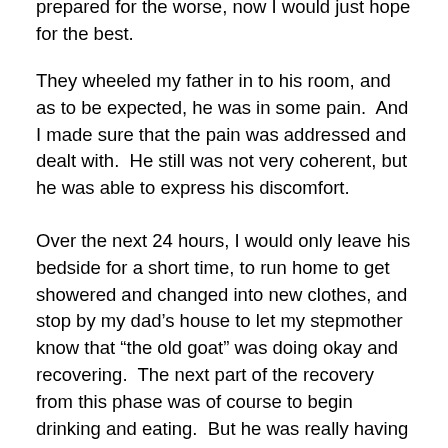prepared for the worse, now I would just hope for the best.
They wheeled my father in to his room, and as to be expected, he was in some pain.  And I made sure that the pain was addressed and dealt with.  He still was not very coherent, but he was able to express his discomfort.
Over the next 24 hours, I would only leave his bedside for a short time, to run home to get showered and changed into new clothes, and stop by my dad’s house to let my stepmother know that “the old goat” was doing okay and recovering.  The next part of the recovery from this phase was of course to begin drinking and eating.  But he was really having none of it.  And it was pretty much just chalked up to the trauma that his body had just been put through.  Everything else seemed to be okay upon exams by doctors and nurses on their rounds.